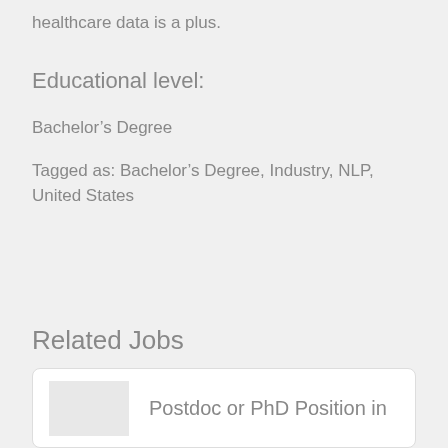healthcare data is a plus.
Educational level:
Bachelor's Degree
Tagged as: Bachelor's Degree, Industry, NLP, United States
Related Jobs
Postdoc or PhD Position in